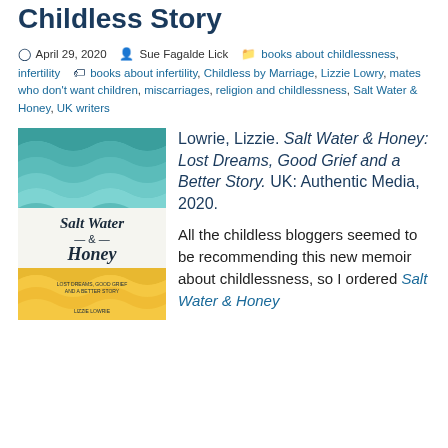Childless Story
April 29, 2020  Sue Fagalde Lick  books about childlessness, infertility  books about infertility, Childless by Marriage, Lizzie Lowry, mates who don't want children, miscarriages, religion and childlessness, Salt Water & Honey, UK writers
[Figure (photo): Book cover of Salt Water & Honey by Lizzie Lowrie. The cover features teal and yellow wavy bands at the top and bottom, with the title in cursive script in the middle. Subtitle reads: Lost Dreams, Good Grief and a Better Story.]
Lowrie, Lizzie. Salt Water & Honey: Lost Dreams, Good Grief and a Better Story. UK: Authentic Media, 2020.
All the childless bloggers seemed to be recommending this new memoir about childlessness, so I ordered Salt Water & Honey